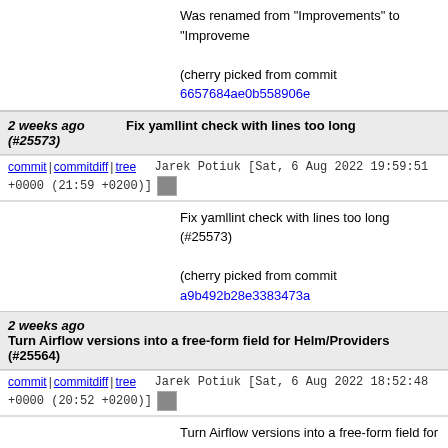Was renamed from "Improvements" to "Improveme
(cherry picked from commit 6657684ae0b558906e
2 weeks ago (#25573) Fix yamllint check with lines too long
commit | commitdiff | tree   Jarek Potiuk [Sat, 6 Aug 2022 19:59:51 +0000 (21:59 +0200)]
Fix yamllint check with lines too long (#25573)
(cherry picked from commit a9b492b28e3383473a
2 weeks ago Turn Airflow versions into a free-form field for Helm/Providers (#25564)
commit | commitdiff | tree   Jarek Potiuk [Sat, 6 Aug 2022 18:52:48 +0000 (20:52 +0200)]
Turn Airflow versions into a free-form field for Helm/Providers (#25564)
* Turn Airflow versions in free-form field for Helm/Providers
(cherry picked from commit a796d9377dca1aaf30